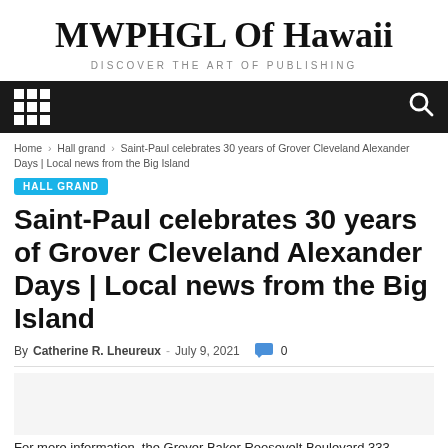MWPHGL Of Hawaii
DISCOVER THE ART OF PUBLISHING
[Figure (screenshot): Black navigation bar with grid/menu icon on left and search icon on right]
Home › Hall grand › Saint-Paul celebrates 30 years of Grover Cleveland Alexander Days | Local news from the Big Island
HALL GRAND
Saint-Paul celebrates 30 years of Grover Cleveland Alexander Days | Local news from the Big Island
By Catherine R. Lheureux - July 9, 2021  0
For more information, the Grover Baker Roosevelt Boulevard 333...